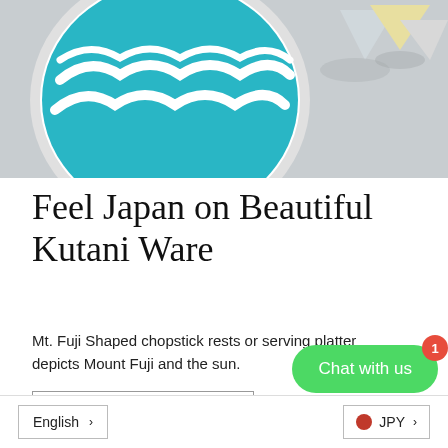[Figure (photo): Kutani ware ceramic dish with blue wave design and Mount Fuji shaped pieces on a gray background]
Feel Japan on Beautiful Kutani Ware
Mt. Fuji Shaped chopstick rests or serving platter depicts Mount Fuji and the sun.
LEAN MORE
[Figure (screenshot): Gray map area section]
Chat with us
English
JPY